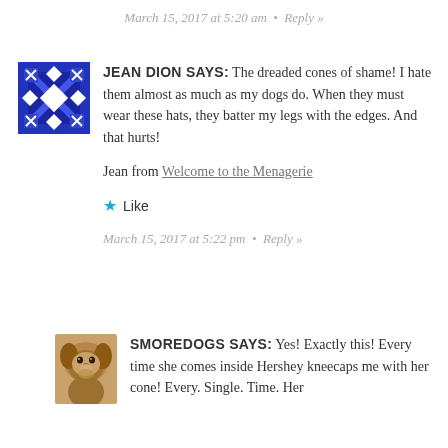March 15, 2017 at 5:20 am  •  Reply »
[Figure (illustration): Blue geometric square avatar for Jean Dion with diamond/X pattern]
JEAN DION SAYS: The dreaded cones of shame! I hate them almost as much as my dogs do. When they must wear these hats, they batter my legs with the edges. And that hurts!

Jean from Welcome to the Menagerie

★ Like

March 15, 2017 at 5:22 pm  •  Reply »
[Figure (photo): Photo of a brown dog (Hershey) as user avatar for SMOREDOGS]
SMOREDOGS SAYS: Yes! Exactly this! Every time she comes inside Hershey kneecaps me with her cone! Every. Single. Time. Her